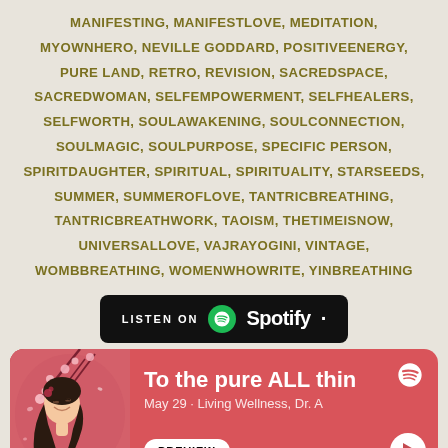MANIFESTING, MANIFESTLOVE, MEDITATION, MYOWNHERO, NEVILLE GODDARD, POSITIVEENERGY, PURE LAND, RETRO, REVISION, SACREDSPACE, SACREDWOMAN, SELFEMPOWERMENT, SELFHEALERS, SELFWORTH, SOULAWAKENING, SOULCONNECTION, SOULMAGIC, SOULPURPOSE, SPECIFIC PERSON, SPIRITDAUGHTER, SPIRITUAL, SPIRITUALITY, STARSEEDS, SUMMER, SUMMEROFLOVE, TANTRICBREATHING, TANTRICBREATHWORK, TAOISM, THETIMEISNOW, UNIVERSALLOVE, VAJRAYOGINI, VINTAGE, WOMBBREATHING, WOMENWHOWRITE, YINBREATHING
[Figure (logo): Listen on Spotify button - black rounded rectangle with Spotify logo and wordmark]
[Figure (screenshot): Spotify podcast card with pink/red background showing episode 'To the pure ALL thin' from May 29, Living Wellness Dr. A, with Japanese woman illustration, preview button and play button]